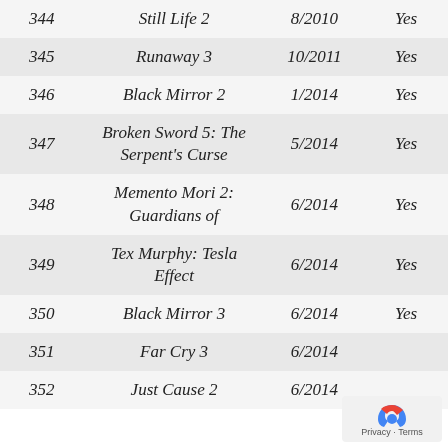| # | Title | Date | Available |
| --- | --- | --- | --- |
| 344 | Still Life 2 | 8/2010 | Yes |
| 345 | Runaway 3 | 10/2011 | Yes |
| 346 | Black Mirror 2 | 1/2014 | Yes |
| 347 | Broken Sword 5: The Serpent's Curse | 5/2014 | Yes |
| 348 | Memento Mori 2: Guardians of | 6/2014 | Yes |
| 349 | Tex Murphy: Tesla Effect | 6/2014 | Yes |
| 350 | Black Mirror 3 | 6/2014 | Yes |
| 351 | Far Cry 3 | 6/2014 |  |
| 352 | Just Cause 2 | 6/2014 |  |